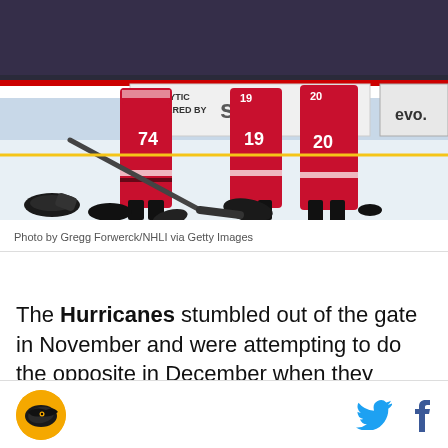[Figure (photo): Carolina Hurricanes players in red jerseys (numbers 74, 19, 20 visible) standing on ice with hats and gloves thrown on the ice surface after a win. Arena boards show 'ANALYTICS POWERED BY SAS' and 'evo.' signage in background.]
Photo by Gregg Forwerck/NHLI via Getty Images
The Hurricanes stumbled out of the gate in November and were attempting to do the opposite in December when they played a very impressive Bruins team in Boston on Tuesday - their first meeting since the
Logo and social media icons (Twitter, Facebook)